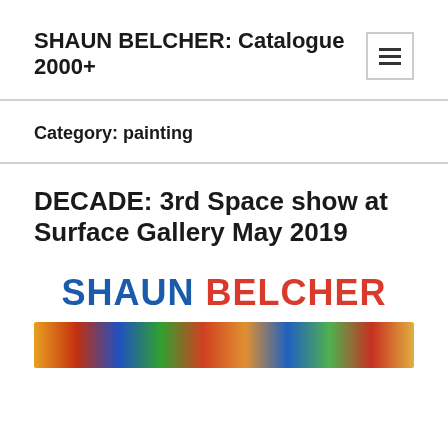SHAUN BELCHER: Catalogue 2000+
Category: painting
DECADE: 3rd Space show at Surface Gallery May 2019
SHAUN BELCHER
[Figure (photo): Colorful abstract painting strip visible at bottom of page]